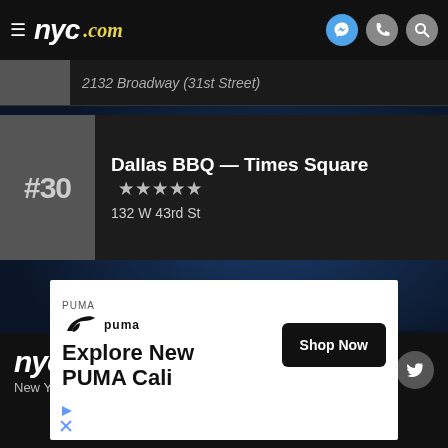nyc.com — navigation header with hamburger menu and icons for messenger, phone, and search
2132 Broadway (31st Street)
Dallas BBQ — Times Square ★★★★★
132 W 43rd St
[Figure (infographic): Puma advertisement: Explore New PUMA Cali — Shop Now button]
nyc.com New York's Box Office
Privacy Policy | About Us | Contact Us | Terms of Service
© 2022 NYC.com Inc.